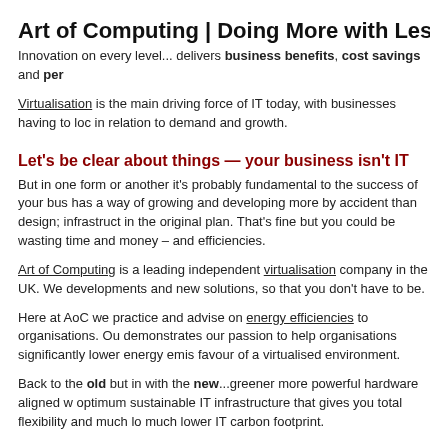Art of Computing | Doing More with Less... Look clo
Innovation on every level... delivers business benefits, cost savings and per
Virtualisation is the main driving force of IT today, with businesses having to loc in relation to demand and growth.
Let's be clear about things — your business isn't IT
But in one form or another it's probably fundamental to the success of your bus has a way of growing and developing more by accident than design; infrastruct in the original plan. That's fine but you could be wasting time and money – and efficiencies.
Art of Computing is a leading independent virtualisation company in the UK. We developments and new solutions, so that you don't have to be.
Here at AoC we practice and advise on energy efficiencies to organisations. Ou demonstrates our passion to help organisations significantly lower energy emis favour of a virtualised environment.
Back to the old but in with the new...greener more powerful hardware aligned w optimum sustainable IT infrastructure that gives you total flexibility and much lo much lower IT carbon footprint.